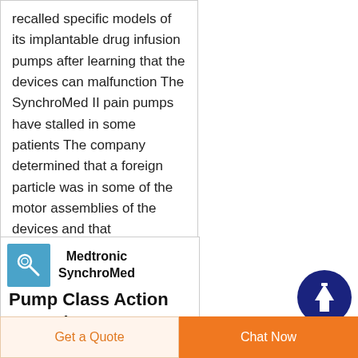recalled specific models of its implantable drug infusion pumps after learning that the devices can malfunction The SynchroMed II pain pumps have stalled in some patients The company determined that a foreign particle was in some of the motor assemblies of the devices and that
[Figure (other): Dark blue circular scroll-to-top button with upward arrow icon]
[Figure (photo): Small blue square thumbnail image showing a medical device (pump/syringe)]
Medtronic SynchroMed Pump Class Action Lawsuit
Get a Quote | Chat Now